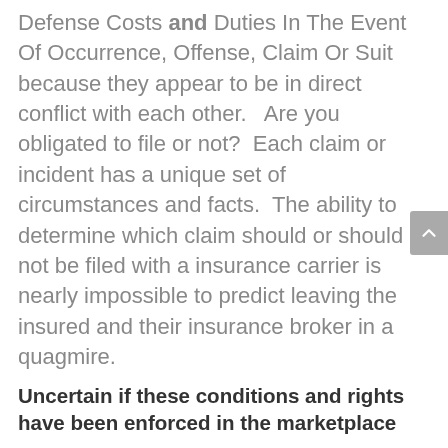Defense Costs and Duties In The Event Of Occurrence, Offense, Claim Or Suit because they appear to be in direct conflict with each other.   Are you obligated to file or not?  Each claim or incident has a unique set of circumstances and facts.  The ability to determine which claim should or should not be filed with a insurance carrier is nearly impossible to predict leaving the insured and their insurance broker in a quagmire.
Uncertain if these conditions and rights have been enforced in the marketplace